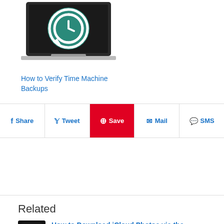[Figure (screenshot): Laptop with Time Machine icon (teal clock with circular arrow) on dark background]
How to Verify Time Machine Backups
Share | Tweet | Save | Mail | SMS
Related
[Figure (screenshot): Terminal/iCloud command line app icon]
How to Download iCloud Photos via the Command Line